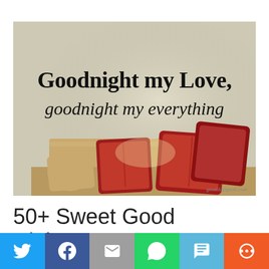[Figure (photo): Bedroom photo showing a wall with vinyl text 'Goodnight my Love, goodnight my everything' above a wooden headboard with red pillows. Watermark: gooddayquote.com]
50+ Sweet Good Night Messages For Lovers
[Figure (other): Social sharing bar with Twitter, Facebook, Email, WhatsApp, SMS, and More buttons]